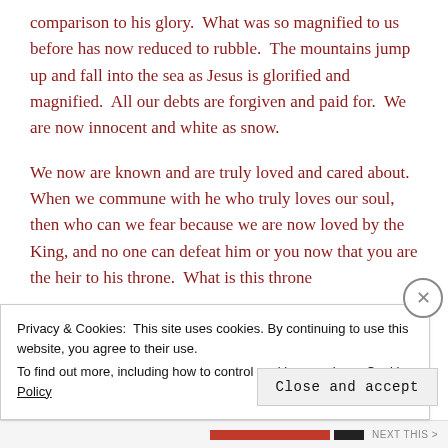comparison to his glory.  What was so magnified to us before has now reduced to rubble.  The mountains jump up and fall into the sea as Jesus is glorified and magnified.  All our debts are forgiven and paid for.  We are now innocent and white as snow.
We now are known and are truly loved and cared about.  When we commune with he who truly loves our soul, then who can we fear because we are now loved by the King, and no one can defeat him or you now that you are the heir to his throne.  What is this throne
Privacy & Cookies:  This site uses cookies. By continuing to use this website, you agree to their use.
To find out more, including how to control cookies, see here: Cookie Policy
Close and accept